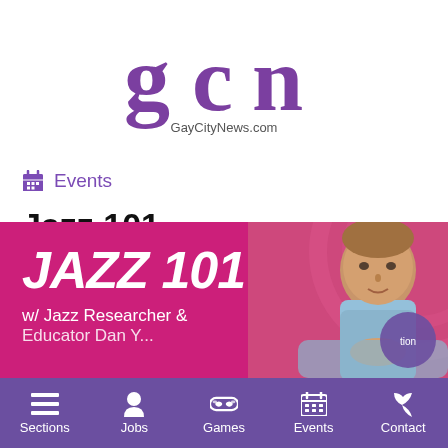[Figure (logo): GCN GayCityNews.com logo in purple]
Events
Jazz 101
[Figure (photo): Jazz 101 promotional banner with magenta background, large italic white text 'JAZZ 101', subtitle 'w/ Jazz Researcher & Educator Dan Y...' and photo of a man on the right]
Sections | Jobs | Games | Events | Contact